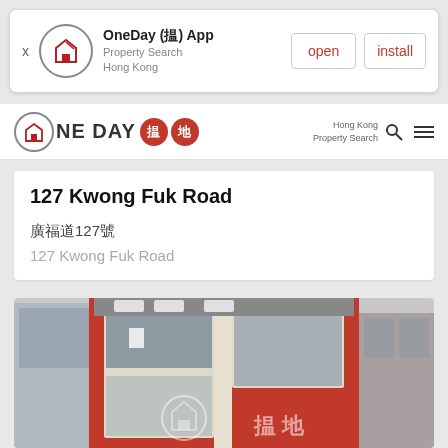[Figure (screenshot): OneDay App promotional banner with logo, open and install buttons]
OneDay (揾) App Property Search Hong Kong
[Figure (logo): OneDay 揾地 logo with red circles containing Chinese characters 揾 and 地]
127 Kwong Fuk Road
廣福道127號
127 Kwong Fuk Road
[Figure (photo): Exterior photo of a building at 127 Kwong Fuk Road with red facade and white window frames, multiple floors visible]